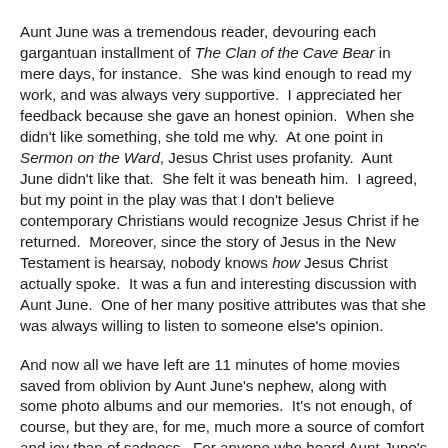Aunt June was a tremendous reader, devouring each gargantuan installment of The Clan of the Cave Bear in mere days, for instance.  She was kind enough to read my work, and was always very supportive.  I appreciated her feedback because she gave an honest opinion.  When she didn't like something, she told me why.  At one point in Sermon on the Ward, Jesus Christ uses profanity.  Aunt June didn't like that.  She felt it was beneath him.  I agreed, but my point in the play was that I don't believe contemporary Christians would recognize Jesus Christ if he returned.  Moreover, since the story of Jesus in the New Testament is hearsay, nobody knows how Jesus Christ actually spoke.  It was a fun and interesting discussion with Aunt June.  One of her many positive attributes was that she was always willing to listen to someone else's opinion.
And now all we have left are 11 minutes of home movies saved from oblivion by Aunt June's nephew, along with some photo albums and our memories.  It's not enough, of course, but they are, for me, much more a source of comfort and joy than of sadness.  For anyone who heard Aunt June's laugh